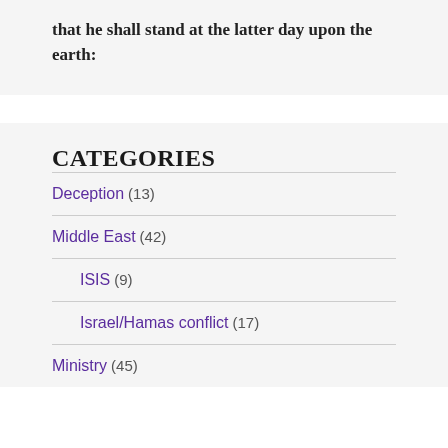that he shall stand at the latter day upon the earth:
CATEGORIES
Deception (13)
Middle East (42)
ISIS (9)
Israel/Hamas conflict (17)
Ministry (45)